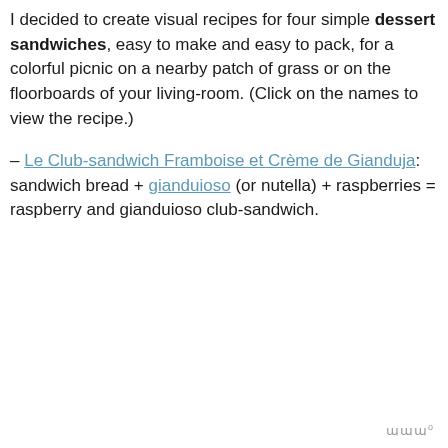I decided to create visual recipes for four simple dessert sandwiches, easy to make and easy to pack, for a colorful picnic on a nearby patch of grass or on the floorboards of your living-room. (Click on the names to view the recipe.)
– Le Club-sandwich Framboise et Crème de Gianduja: sandwich bread + gianduioso (or nutella) + raspberries = raspberry and gianduioso club-sandwich.
ɯɯ°